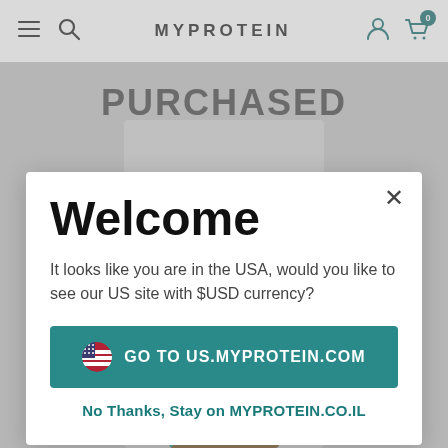MYPROTEIN
Welcome
It looks like you are in the USA, would you like to see our US site with $USD currency?
Go to US.MYPROTEIN.COM
No Thanks, Stay on MYPROTEIN.CO.IL
[Figure (screenshot): Myprotein website screenshot with a welcome popup dialog asking users to switch to US site with USD currency]